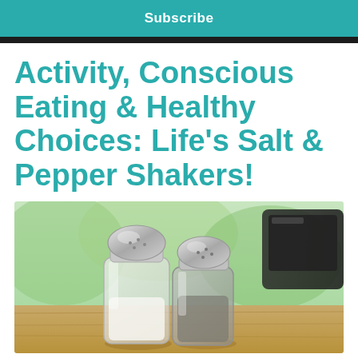Subscribe
Activity, Conscious Eating & Healthy Choices: Life's Salt & Pepper Shakers!
[Figure (photo): Two glass salt and pepper shakers with silver metal tops on a wooden table, with a blurred green outdoor background.]